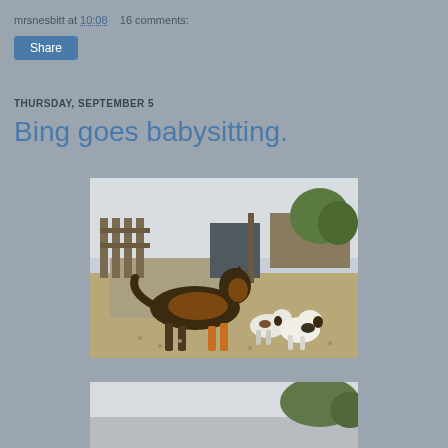mrsnesbitt at 10:08    16 comments:
Share
THURSDAY, SEPTEMBER 5
Bing goes babysitting.
[Figure (photo): A large German Shepherd dog standing on gravel looking down at three small puppies. A wooden fence and trees are visible in the background.]
[Figure (photo): Partial view of a second outdoor photo, partially cut off at bottom of page.]